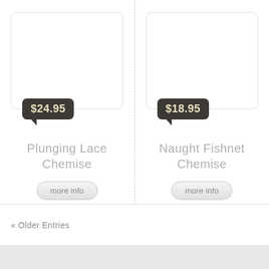[Figure (screenshot): Product card for Plunging Lace Chemise with price bubble showing $24.95]
Plunging Lace Chemise
[Figure (screenshot): Product card for Naught Fishnet Chemise with price bubble showing $18.95]
Naught Fishnet Chemise
« Older Entries
All persons d